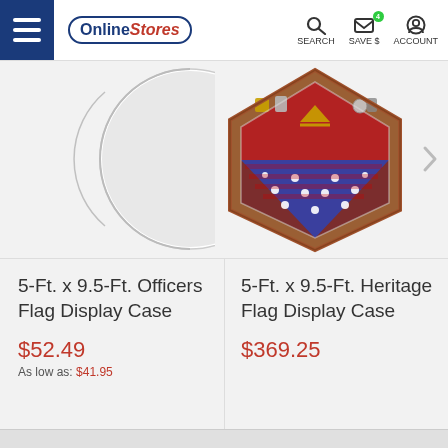Online Stores | SEARCH | SAVE $ | ACCOUNT
[Figure (photo): Partial view of a circular product image (left product, Officers Flag Display Case) — cut off on left side of carousel]
[Figure (photo): Flag display case — wooden shadow box with American flag folded inside and military medals/badges on red velvet background (Heritage Flag Display Case)]
5-Ft. x 9.5-Ft. Officers Flag Display Case
$52.49
As low as: $41.95
5-Ft. x 9.5-Ft. Heritage Flag Display Case
$369.25